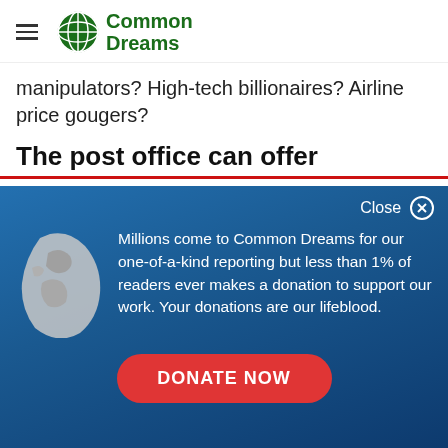Common Dreams
manipulators? High-tech billionaires? Airline price gougers?
The post office can offer
[Figure (infographic): Donation overlay on Common Dreams website with globe icon, text about donations, and a red DONATE NOW button. Text: Millions come to Common Dreams for our one-of-a-kind reporting but less than 1% of readers ever makes a donation to support our work. Your donations are our lifeblood.]